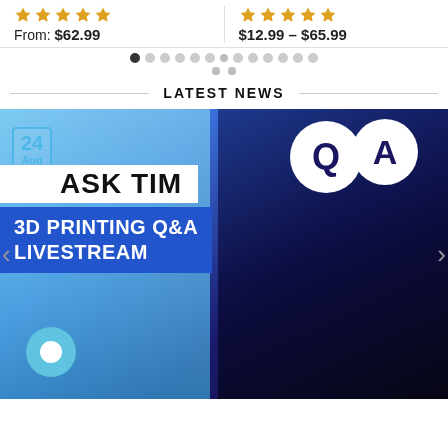From: $62.99
$12.99 – $65.99
LATEST NEWS
[Figure (photo): A man with a beard wearing a cap and headphones sitting in a studio with 3D printers; overlaid text reads '24 Aug', 'ASK TIM', '3D PRINTING Q&A LIVESTREAM', and a Q&A speech bubble graphic in the upper right.]